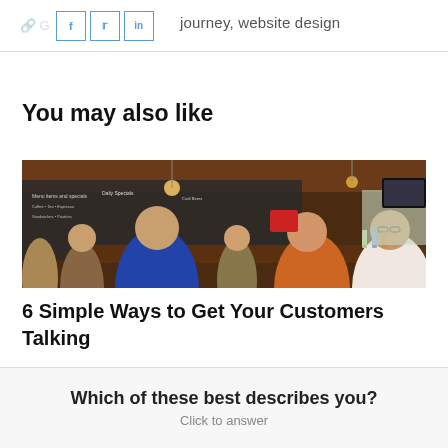journey, website design
You may also like
[Figure (photo): Interior of a busy cafe/bar with people standing at the counter. Chalkboard menus cover the walls and wooden ceiling. Various patrons visible from behind.]
6 Simple Ways to Get Your Customers Talking
Which of these best describes you? Click to answer